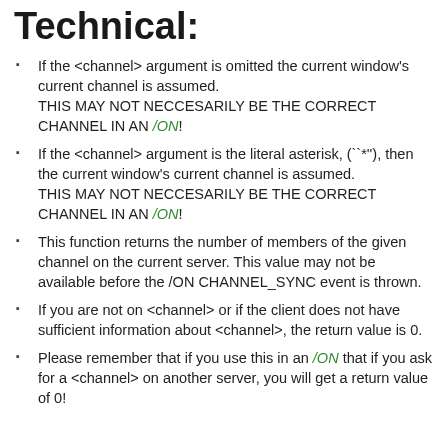Technical:
If the <channel> argument is omitted the current window's current channel is assumed. THIS MAY NOT NECCESARILY BE THE CORRECT CHANNEL IN AN /ON!
If the <channel> argument is the literal asterisk, (``*''), then the current window's current channel is assumed. THIS MAY NOT NECCESARILY BE THE CORRECT CHANNEL IN AN /ON!
This function returns the number of members of the given channel on the current server. This value may not be available before the /ON CHANNEL_SYNC event is thrown.
If you are not on <channel> or if the client does not have sufficient information about <channel>, the return value is 0.
Please remember that if you use this in an /ON that if you ask for a <channel> on another server, you will get a return value of 0!